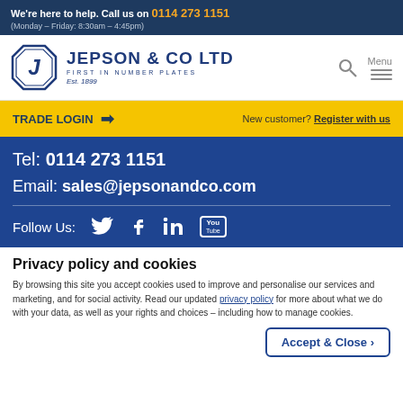We're here to help. Call us on 0114 273 1151 (Monday – Friday: 8:30am – 4:45pm)
[Figure (logo): Jepson & Co Ltd logo — octagonal J icon with text 'JEPSON & CO LTD FIRST IN NUMBER PLATES Est. 1899']
TRADE LOGIN → New customer? Register with us
Tel: 0114 273 1151
Email: sales@jepsonandco.com
Follow Us: [Twitter] [Facebook] [LinkedIn] [YouTube]
Privacy policy and cookies
By browsing this site you accept cookies used to improve and personalise our services and marketing, and for social activity. Read our updated privacy policy for more about what we do with your data, as well as your rights and choices – including how to manage cookies.